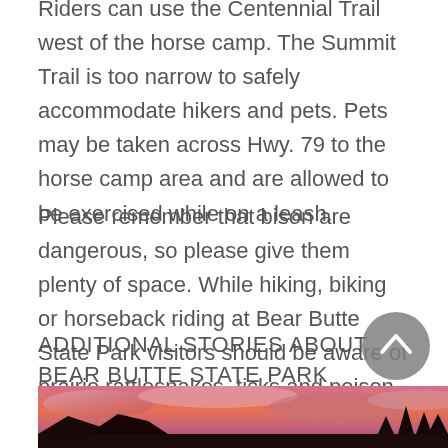Riders can use the Centennial Trail west of the horse camp. The Summit Trail is too narrow to safely accommodate hikers and pets. Pets may be taken across Hwy. 79 to the horse camp area and are allowed to be exercised while on a leash.
Please remember that bison are dangerous, so please give them plenty of space. While hiking, biking or horseback riding at Bear Butte State Park visitors should be aware of prairie rattlesnakes, ticks and poison ivy.
ADDITIONAL STORIES ABOUT BEAR BUTTE STATE PARK
[Figure (photo): Partial view of a landscape photo showing a dramatic sky with pink and orange clouds at sunset/dusk with dark silhouetted trees and rock formations at the bottom.]